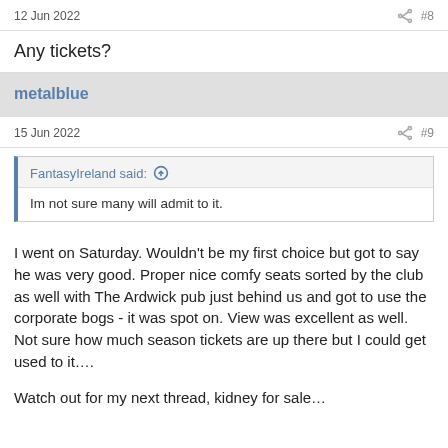12 Jun 2022  #8
Any tickets?
metalblue
15 Jun 2022  #9
FantasyIreland said: ↑
Im not sure many will admit to it.
I went on Saturday. Wouldn't be my first choice but got to say he was very good. Proper nice comfy seats sorted by the club as well with The Ardwick pub just behind us and got to use the corporate bogs - it was spot on. View was excellent as well. Not sure how much season tickets are up there but I could get used to it....
Watch out for my next thread, kidney for sale...